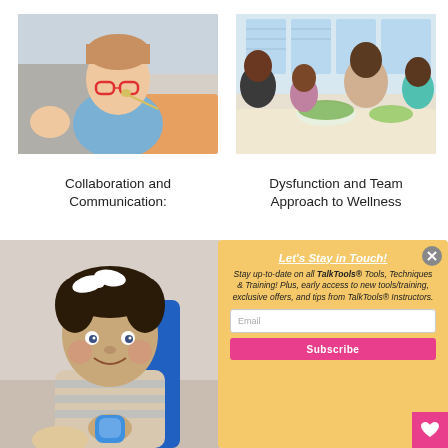[Figure (photo): Young girl with red glasses eating/tasting food with a spoon, sitting on a couch]
[Figure (photo): Family of four seated at a dining table sharing a meal with salad and green vegetables]
Collaboration and Communication:
Dysfunction and Team Approach to Wellness
[Figure (photo): Smiling baby/toddler with a white bow in hair, sitting in a blue high chair holding a bottle]
Let's Stay in Touch!
Stay up-to-date on all TalkTools® Tools, Techniques & Training! Plus, early access to new tools/training, exclusive offers, and tips from TalkTools® Instructors.
Email
Subscribe